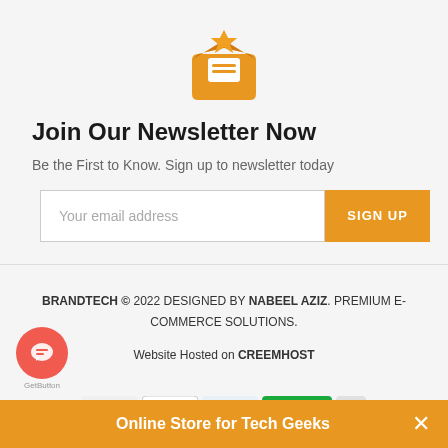[Figure (illustration): Orange envelope icon with a letter/document inside, open flap at top]
Join Our Newsletter Now
Be the First to Know. Sign up to newsletter today
[Figure (other): Email address input field with placeholder 'Your email address' and orange 'SIGN UP' button]
BRANDTECH © 2022 DESIGNED BY NABEEL AZIZ. PREMIUM E-COMMERCE SOLUTIONS. Website Hosted on CREEMHOST
[Figure (other): Row of payment method icons: Mastercard, JCB, PayPal, and other payment logos]
[Figure (other): Orange circular chat/support button with speech bubble icon, labeled GetButton]
Online Store for Tech Geeks